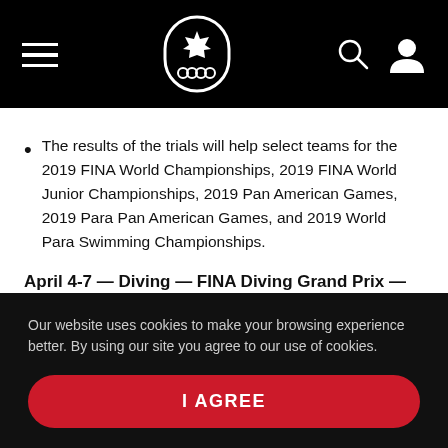Canadian Olympic Committee website header with hamburger menu, logo, search and user icons
The results of the trials will help select teams for the 2019 FINA World Championships, 2019 FINA World Junior Championships, 2019 Pan American Games, 2019 Para Pan American Games, and 2019 World Para Swimming Championships.
April 4-7 — Diving — FINA Diving Grand Prix — Repsol Sport Centre — Calgary, Alberta
Our website uses cookies to make your browsing experience better. By using our site you agree to our use of cookies.
I AGREE